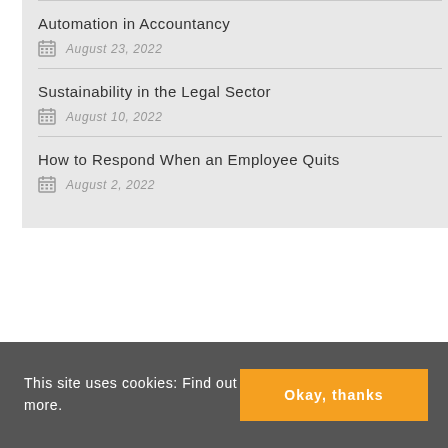Automation in Accountancy — August 23, 2022
Sustainability in the Legal Sector — August 10, 2022
How to Respond When an Employee Quits — August 2, 2022
This site uses cookies: Find out more.
Okay, thanks